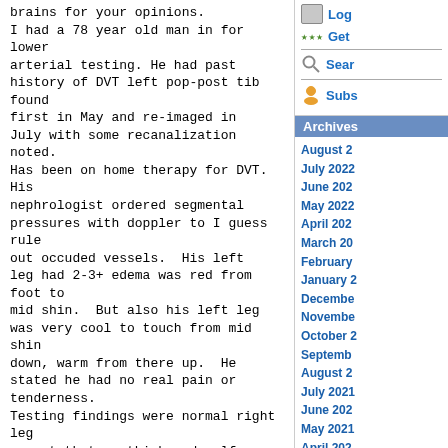brains for your opinions.
I had a 78 year old man in for lower arterial testing. He had past history of DVT left pop-post tib found first in May and re-imaged in July with some recanalization noted. Has been on home therapy for DVT.  His nephrologist ordered segmental pressures with doppler to I guess rule out occuded vessels.  His left leg had 2-3+ edema was red from foot to mid shin.  But also his left leg was very cool to touch from mid shin down, warm from there up.  He stated he had no real pain or tenderness. Testing findings were normal right leg except that up thigh and calf cuff could not be totally occluded.  Left extremity thigh had all pressure within normal limits also, but wave forms were diminished, and even had toe pressures noted.  Left ankle could not be totally occluded either.  Otherwise the  study would be considered normal by  most standards, except for the fact the leg was swollen, cool, and red.
Consulted senior retired vascular surgeon and he agreed with the fast that the DVT should be evaluated
Log
Get
Sear
Subs
Archives
August 2
July 2022
June 202
May 2022
April 202
March 20
February
January 2
December
November
October 2
September
August 2
July 2021
June 202
May 2021
April 202
March 20
February
January 2
December